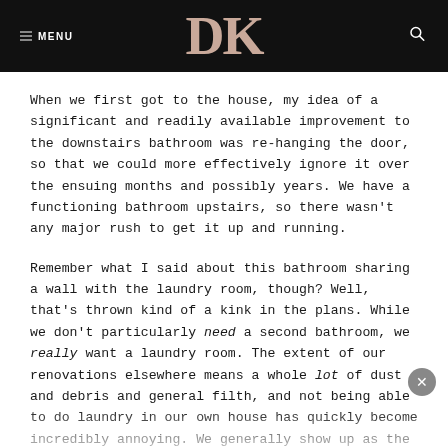MENU | DK | [search icon]
When we first got to the house, my idea of a significant and readily available improvement to the downstairs bathroom was re-hanging the door, so that we could more effectively ignore it over the ensuing months and possibly years. We have a functioning bathroom upstairs, so there wasn't any major rush to get it up and running.
Remember what I said about this bathroom sharing a wall with the laundry room, though? Well, that's thrown kind of a kink in the plans. While we don't particularly need a second bathroom, we really want a laundry room. The extent of our renovations elsewhere means a whole lot of dust and debris and general filth, and not being able to do laundry in our own house has quickly become incredibly annoying. We generally show up as the laundromat once a couple of weeks at...